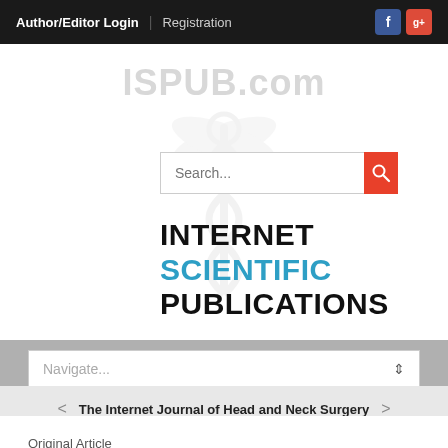Author/Editor Login | Registration
ISPUB.com
Search...
INTERNET SCIENTIFIC PUBLICATIONS
Navigate...
The Internet Journal of Head and Neck Surgery
Original Article
Giant Vocal Cord Nodule